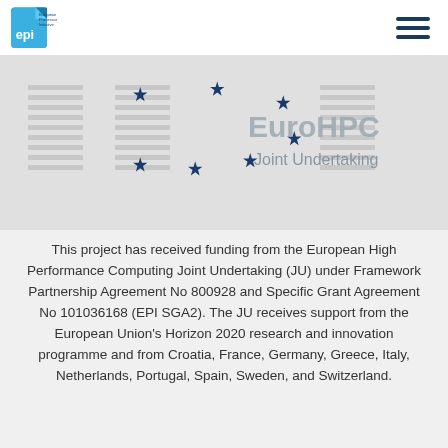EPI – European Processor Initiative
[Figure (logo): EuroHPC Joint Undertaking banner with EU stars and stacked document graphics on grey background]
This project has received funding from the European High Performance Computing Joint Undertaking (JU) under Framework Partnership Agreement No 800928 and Specific Grant Agreement No 101036168 (EPI SGA2). The JU receives support from the European Union's Horizon 2020 research and innovation programme and from Croatia, France, Germany, Greece, Italy, Netherlands, Portugal, Spain, Sweden, and Switzerland.